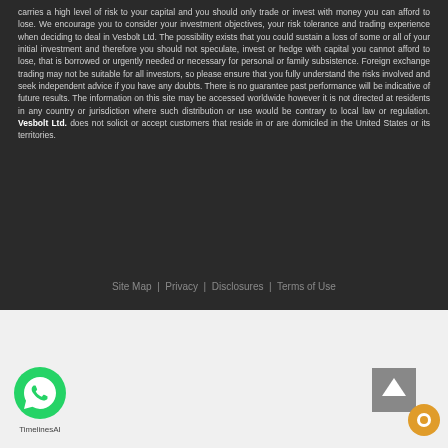carries a high level of risk to your capital and you should only trade or invest with money you can afford to lose. We encourage you to consider your investment objectives, your risk tolerance and trading experience when deciding to deal in Vesbolt Ltd. The possibility exists that you could sustain a loss of some or all of your initial investment and therefore you should not speculate, invest or hedge with capital you cannot afford to lose, that is borrowed or urgently needed or necessary for personal or family subsistence. Foreign exchange trading may not be suitable for all investors, so please ensure that you fully understand the risks involved and seek independent advice if you have any doubts. There is no guarantee past performance will be indicative of future results. The information on this site may be accessed worldwide however it is not directed at residents in any country or jurisdiction where such distribution or use would be contrary to local law or regulation. Vesbolt Ltd. does not solicit or accept customers that reside in or are domiciled in the United States or its territories.
Site Map | Privacy | Disclosures | Terms of Use
[Figure (illustration): Green circular WhatsApp button icon with white phone handset symbol, with label 'TimelinesAI' below]
[Figure (illustration): Grey scroll-to-top button with upward arrow, overlapping with an orange circular chat button icon]